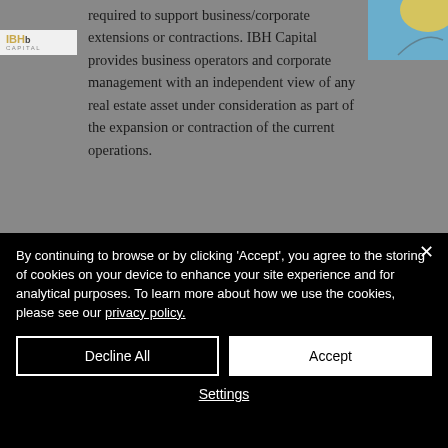[Figure (screenshot): IBH Capital website screenshot showing partial text about real estate advisory services with logo visible, and a decorative image in the top-right corner]
required to support business/corporate extensions or contractions. IBH Capital provides business operators and corporate management with an independent view of any real estate asset under consideration as part of the expansion or contraction of the current operations.
By continuing to browse or by clicking 'Accept', you agree to the storing of cookies on your device to enhance your site experience and for analytical purposes. To learn more about how we use the cookies, please see our privacy policy.
Decline All
Accept
Settings